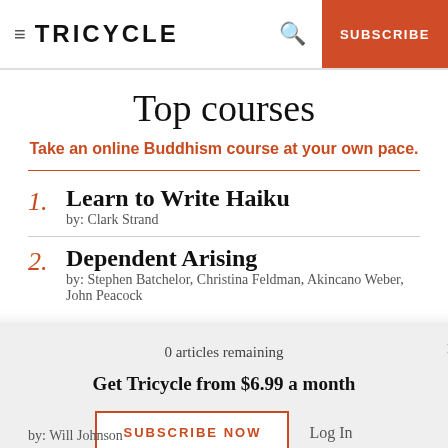TRICYCLE | SUBSCRIBE
Top courses
Take an online Buddhism course at your own pace.
1. Learn to Write Haiku
by: Clark Strand
2. Dependent Arising
by: Stephen Batchelor, Christina Feldman, Akincano Weber, John Peacock
0 articles remaining
Get Tricycle from $6.99 a month
SUBSCRIBE NOW   Log In
by: Will Johnson